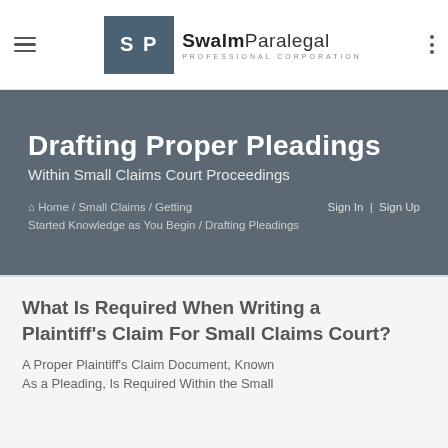Swalm Paralegal Professional Corporation
Drafting Proper Pleadings Within Small Claims Court Proceedings
Home / Small Claims / Getting Started Knowledge as You Begin / Drafting Pleadings   Sign In | Sign Up
What Is Required When Writing a Plaintiff's Claim For Small Claims Court?
A Proper Plaintiff's Claim Document, Known As a Pleading, Is Required Within the Small